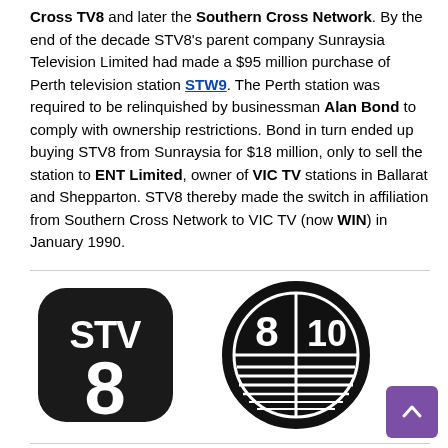Cross TV8 and later the Southern Cross Network. By the end of the decade STV8's parent company Sunraysia Television Limited had made a $95 million purchase of Perth television station STW9. The Perth station was required to be relinquished by businessman Alan Bond to comply with ownership restrictions. Bond in turn ended up buying STV8 from Sunraysia for $18 million, only to sell the station to ENT Limited, owner of VIC TV stations in Ballarat and Shepparton. STV8 thereby made the switch in affiliation from Southern Cross Network to VIC TV (now WIN) in January 1990.
[Figure (logo): STV8 logo — black rounded-square shape with 'STV' text above a large '8']
[Figure (logo): Circle logo divided into quadrants showing '8' and '10' in top halves and horizontal lines in bottom halves, black background]